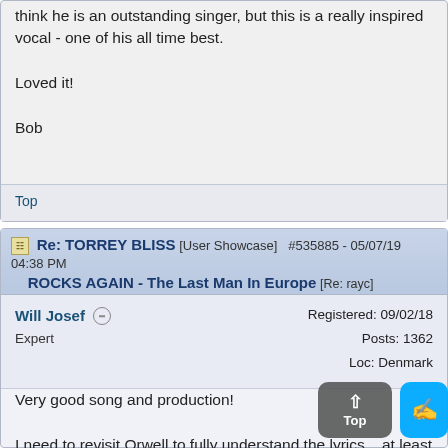think he is an outstanding singer, but this is a really inspired vocal - one of his all time best.

Loved it!

Bob
Top
Re: TORREY BLISS [User Showcase] #535885 - 05/07/19 04:38 PM ROCKS AGAIN - The Last Man In Europe [Re: rayc]
Will Josef  Expert  Registered: 09/02/18  Posts: 1362  Loc: Denmark
Very good song and production!

I need to revisit Orwell to fully understand the lyrics... at least 25 years ago I read his books and I know too little about